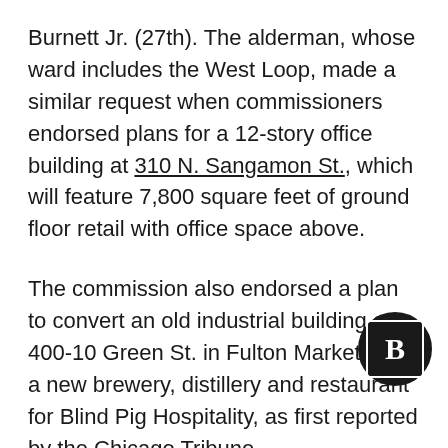Burnett Jr. (27th). The alderman, whose ward includes the West Loop, made a similar request when commissioners endorsed plans for a 12-story office building at 310 N. Sangamon St., which will feature 7,800 square feet of ground floor retail with office space above.
The commission also endorsed a plan to convert an old industrial building at 400-10 Green St. in Fulton Market into a new brewery, distillery and restaurant for Blind Pig Hospitality, as first reported by the Chicago Tribune.
Burnett said he was pleased the building, which he said had been vacant for many years, would be reused, noting that he once reviewed a